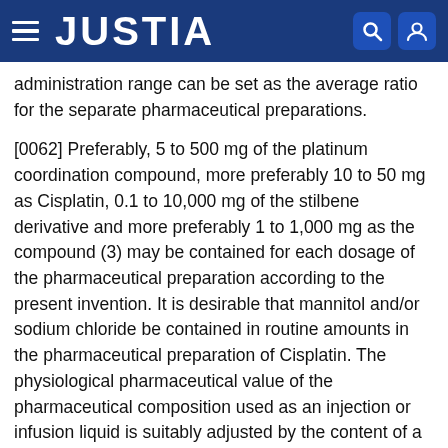JUSTIA
administration range can be set as the average ratio for the separate pharmaceutical preparations.
[0062] Preferably, 5 to 500 mg of the platinum coordination compound, more preferably 10 to 50 mg as Cisplatin, 0.1 to 10,000 mg of the stilbene derivative and more preferably 1 to 1,000 mg as the compound (3) may be contained for each dosage of the pharmaceutical preparation according to the present invention. It is desirable that mannitol and/or sodium chloride be contained in routine amounts in the pharmaceutical preparation of Cisplatin. The physiological pharmaceutical value of the pharmaceutical composition used as an injection or infusion liquid is suitably adjusted by the content of a buffer well-known in the art.
[0063] Having now generally described this invention,